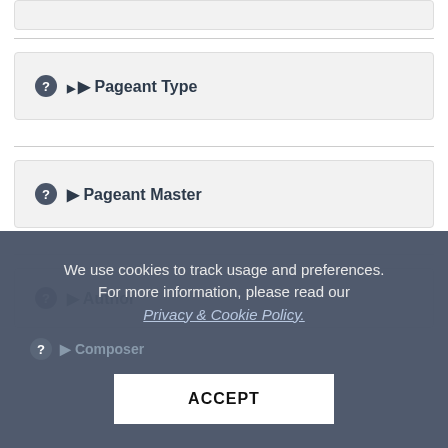[Partial top accordion box - truncated]
▶ Pageant Type
▶ Pageant Master
▶ Author
▶ Composer
We use cookies to track usage and preferences. For more information, please read our Privacy & Cookie Policy.
ACCEPT